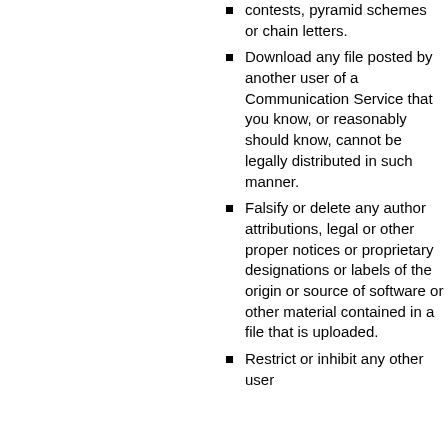contests, pyramid schemes or chain letters.
Download any file posted by another user of a Communication Service that you know, or reasonably should know, cannot be legally distributed in such manner.
Falsify or delete any author attributions, legal or other proper notices or proprietary designations or labels of the origin or source of software or other material contained in a file that is uploaded.
Restrict or inhibit any other user